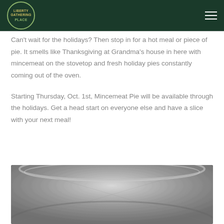Liberty Gathering Place
Can't wait for the holidays? Then stop in for a hot meal or piece of pie. It smells like Thanksgiving at Grandma's house in here with mincemeat on the stovetop and fresh holiday pies constantly coming out of the oven.
Starting Thursday, Oct. 1st, Mincemeat Pie will be available through the holidays. Get a head start on everyone else and have a slice with your next meal!
[Figure (photo): Close-up photo of a metal cooking pot or pan, viewed from above, showing the metallic surface.]